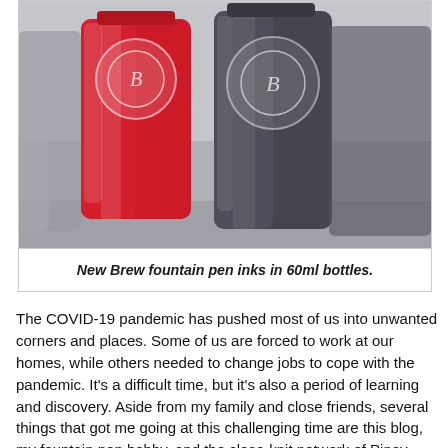[Figure (photo): Two New Brew fountain pen ink bottles in 60ml size — one red and one dark grey/charcoal — each with a circular logo emblem on the front, displayed side by side on a surface.]
New Brew fountain pen inks in 60ml bottles.
The COVID-19 pandemic has pushed most of us into unwanted corners and places. Some of us are forced to work at our homes, while others needed to change jobs to cope with the pandemic. It's a difficult time, but it's also a period of learning and discovery. Aside from my family and close friends, several things that got me going at this challenging time are this blog, my fountain pen hobby, and the close-knit network of Pinoy fountain pen users. We help and support each other, reach out to one another, and discover many things together. One of the beautiful new things we discovered together during this time is New Brew, an